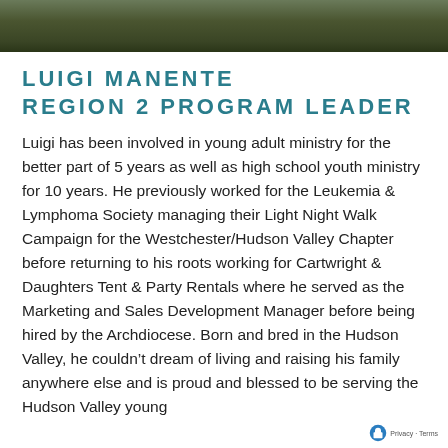[Figure (photo): Photo strip of a person outdoors, shown as a cropped banner at the top of the page]
LUIGI MANENTE
REGION 2 PROGRAM LEADER
Luigi has been involved in young adult ministry for the better part of 5 years as well as high school youth ministry for 10 years. He previously worked for the Leukemia & Lymphoma Society managing their Light Night Walk Campaign for the Westchester/Hudson Valley Chapter before returning to his roots working for Cartwright & Daughters Tent & Party Rentals where he served as the Marketing and Sales Development Manager before being hired by the Archdiocese. Born and bred in the Hudson Valley, he couldn't dream of living and raising his family anywhere else and is proud and blessed to be serving the Hudson Valley young